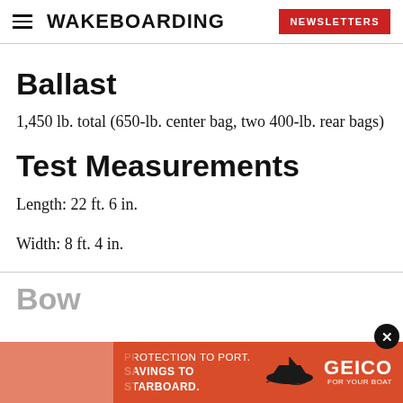WAKEBOARDING | NEWSLETTERS
Ballast
1,450 lb. total (650-lb. center bag, two 400-lb. rear bags)
Test Measurements
Length: 22 ft. 6 in.
Width: 8 ft. 4 in.
Bow
[Figure (other): GEICO advertisement banner: orange background with text PROTECTION TO PORT. SAVINGS TO STARBOARD. with boat illustration and GEICO FOR YOUR BOAT logo]